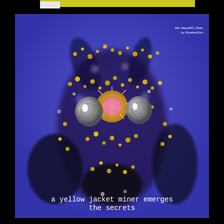[Figure (illustration): Digital art illustration of a yellow jacket miner bee face close-up, blended with yellow flowering plants on a purple/blue background. The insect's eyes are visible as grey spherical shapes with white highlights. Yellow and white flower clusters cover the face area. Attribution text in upper right: 'Ref. Allec2007_Flickr by ChristinaChin']
a yellow jacket miner emerges
the secrets